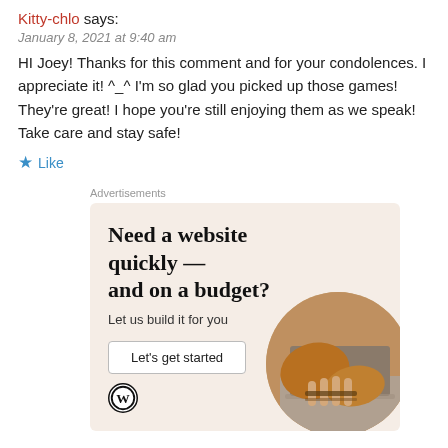Kitty-chlo says:
January 8, 2021 at 9:40 am
HI Joey! Thanks for this comment and for your condolences. I appreciate it! ^_^ I'm so glad you picked up those games! They're great! I hope you're still enjoying them as we speak! Take care and stay safe!
★ Like
Advertisements
[Figure (infographic): WordPress advertisement: 'Need a website quickly — and on a budget? Let us build it for you' with a 'Let's get started' button, WordPress logo, and a circular photo of hands typing on a laptop.]